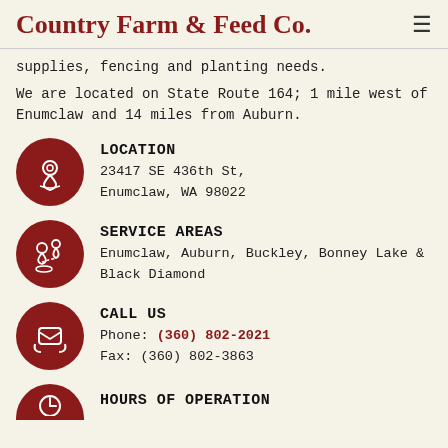Country Farm & Feed Co.
supplies, fencing and planting needs.
We are located on State Route 164; 1 mile west of Enumclaw and 14 miles from Auburn.
LOCATION
23417 SE 436th St, Enumclaw, WA 98022
SERVICE AREAS
Enumclaw, Auburn, Buckley, Bonney Lake & Black Diamond
CALL US
Phone: (360) 802-2021
Fax: (360) 802-3863
HOURS OF OPERATION